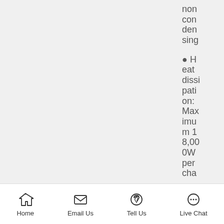noncondensing
Heat dissipation: Maximum 18,000W per cha
Home  Email Us  Tell Us  Live Chat